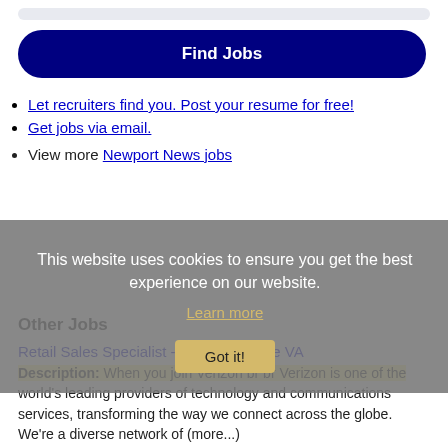[Figure (other): Partial search bar stub at top of page]
Find Jobs
Let recruiters find you. Post your resume for free!
Get jobs via email.
View more Newport News jobs
This website uses cookies to ensure you get the best experience on our website.
Learn more
Got it!
Other Jobs
Retail Sales Specialist - In Chesapeake VA
Description: When you join Verizon br br Verizon is one of the world's leading providers of technology and communications services, transforming the way we connect across the globe. We're a diverse network of (more...)